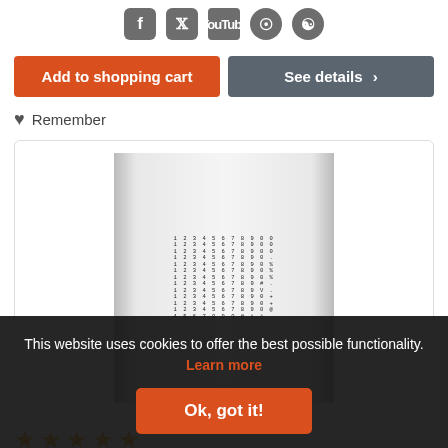[Figure (other): Social media icons: Facebook, Twitter, YouTube, Instagram, Pinterest]
Add to shopping cart
See details >
Remember
[Figure (photo): Product image showing sheets of magnetic numbers (MagPaint Numbers, set of 240), depicted as rows of digits on a white background with slight gradient shading]
★★★★★
Magnetic numbers, MagPaint Numbers, set of 240
This website uses cookies to offer the best possible functionality. Learn more
Ok, got it!